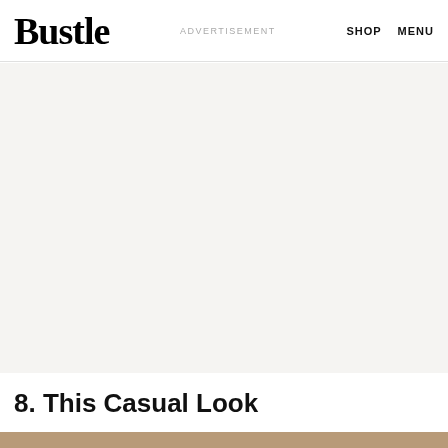Bustle  ADVERTISEMENT  SHOP  MENU
[Figure (other): Advertisement placeholder block with light gray background]
8. This Casual Look
[Figure (photo): Partial photo strip at bottom showing warm brown/wood tones]